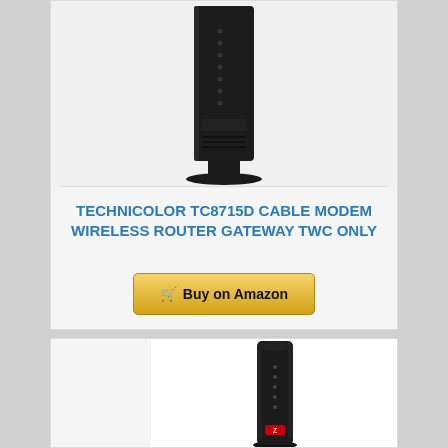[Figure (photo): Technicolor TC8715D cable modem wireless router — black vertical tower device shown from the front, partially cropped at top]
TECHNICOLOR TC8715D CABLE MODEM WIRELESS ROUTER GATEWAY TWC ONLY
[Figure (illustration): Buy on Amazon button with shopping cart icon, gold/yellow gradient background]
[Figure (photo): Second cable modem/router device — black vertical tower with indicator lights, partially visible in bottom card section]